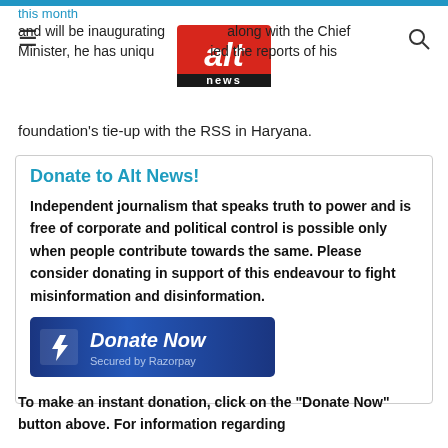Alt News header with hamburger menu, logo, and search icon
and will be inaugurating along with the Chief Minister, he has unequivocally denied the reports of his foundation's tie-up with the RSS in Haryana.
Donate to Alt News!
Independent journalism that speaks truth to power and is free of corporate and political control is possible only when people contribute towards the same. Please consider donating in support of this endeavour to fight misinformation and disinformation.
[Figure (screenshot): Donate Now button secured by Razorpay]
To make an instant donation, click on the "Donate Now" button above. For information regarding